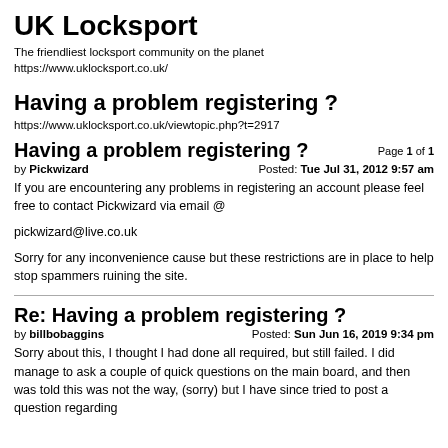UK Locksport
The friendliest locksport community on the planet
https://www.uklocksport.co.uk/
Having a problem registering ?
https://www.uklocksport.co.uk/viewtopic.php?t=2917
Having a problem registering ?
Page 1 of 1
by Pickwizard   Posted: Tue Jul 31, 2012 9:57 am
If you are encountering any problems in registering an account please feel free to contact Pickwizard via email @

pickwizard@live.co.uk

Sorry for any inconvenience cause but these restrictions are in place to help stop spammers ruining the site.
Re: Having a problem registering ?
by billbobaggins   Posted: Sun Jun 16, 2019 9:34 pm
Sorry about this, I thought I had done all required, but still failed. I did manage to ask a couple of quick questions on the main board, and then was told this was not the way, (sorry) but I have since tried to post a question regarding